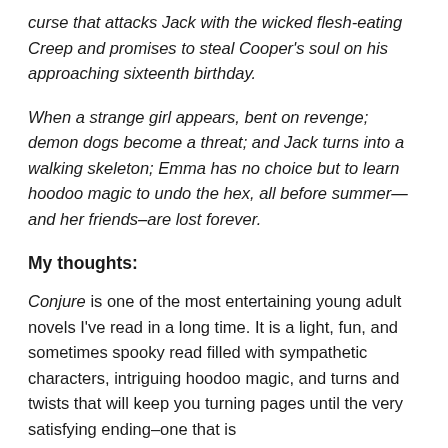curse that attacks Jack with the wicked flesh-eating Creep and promises to steal Cooper's soul on his approaching sixteenth birthday.
When a strange girl appears, bent on revenge; demon dogs become a threat; and Jack turns into a walking skeleton; Emma has no choice but to learn hoodoo magic to undo the hex, all before summer—and her friends–are lost forever.
My thoughts:
Conjure is one of the most entertaining young adult novels I've read in a long time. It is a light, fun, and sometimes spooky read filled with sympathetic characters, intriguing hoodoo magic, and turns and twists that will keep you turning pages until the very satisfying ending–one that is